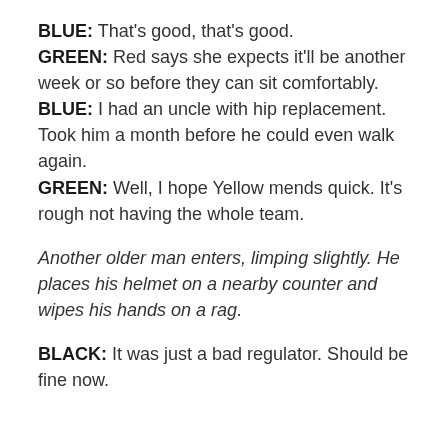BLUE: That's good, that's good.
GREEN: Red says she expects it'll be another week or so before they can sit comfortably.
BLUE: I had an uncle with hip replacement. Took him a month before he could even walk again.
GREEN: Well, I hope Yellow mends quick. It's rough not having the whole team.
Another older man enters, limping slightly. He places his helmet on a nearby counter and wipes his hands on a rag.
BLACK: It was just a bad regulator. Should be fine now.